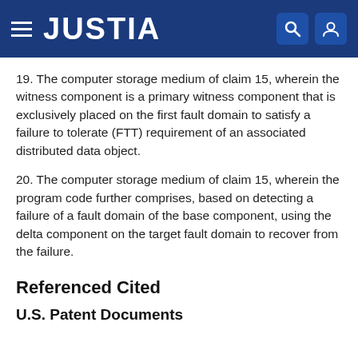JUSTIA
19. The computer storage medium of claim 15, wherein the witness component is a primary witness component that is exclusively placed on the first fault domain to satisfy a failure to tolerate (FTT) requirement of an associated distributed data object.
20. The computer storage medium of claim 15, wherein the program code further comprises, based on detecting a failure of a fault domain of the base component, using the delta component on the target fault domain to recover from the failure.
Referenced Cited
U.S. Patent Documents